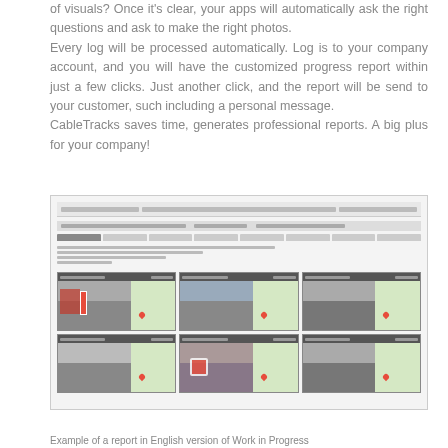of visuals? Once it's clear, your apps will automatically ask the right questions and ask to make the right photos. Every log will be processed automatically. Log is to your company account, and you will have the customized progress report within just a few clicks. Just another click, and the report will be send to your customer, such including a personal message. CableTracks saves time, generates professional reports. A big plus for your company!
[Figure (screenshot): Screenshot of a web application showing a report interface with a 2x3 grid of photo panels, each containing a street-level photograph on the left and a map view on the right.]
Example of a report in English version of Work in Progress